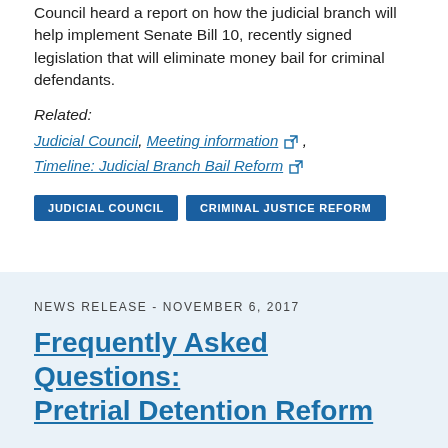Council heard a report on how the judicial branch will help implement Senate Bill 10, recently signed legislation that will eliminate money bail for criminal defendants.
Related:
Judicial Council, Meeting information (external link), Timeline: Judicial Branch Bail Reform (external link)
JUDICIAL COUNCIL   CRIMINAL JUSTICE REFORM
NEWS RELEASE - NOVEMBER 6, 2017
Frequently Asked Questions: Pretrial Detention Reform